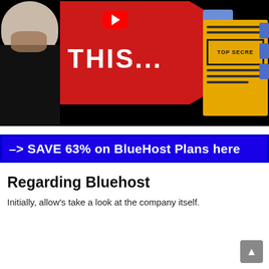[Figure (screenshot): YouTube video thumbnail showing a man in a black shirt, a red stop-sign shape with white text 'THIS...' and a YouTube play button, and a yellow 'TOP SECRET' folder graphic on the right, against a black background.]
–> SAVE 63% on BlueHost Plans here
Regarding Bluehost
Initially, allow's take a look at the company itself.